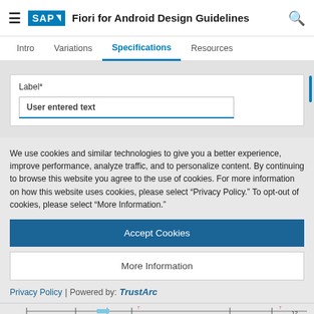Fiori for Android Design Guidelines
Intro  Variations  Specifications  Resources
[Figure (screenshot): Form card with Label* field and User entered text input on grey background]
We use cookies and similar technologies to give you a better experience, improve performance, analyze traffic, and to personalize content. By continuing to browse this website you agree to the use of cookies. For more information on how this website uses cookies, please select “Privacy Policy.” To opt-out of cookies, please select “More Information.”
Accept Cookies
More Information
Privacy Policy | Powered by: TrustArc